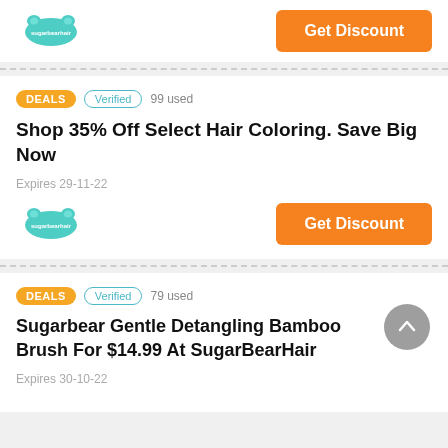[Figure (logo): SugarBearHair logo - teal bear shape with text]
Get Discount
DEALS   Verified   99 used
Shop 35% Off Select Hair Coloring. Save Big Now
Expires 29-11-22
[Figure (logo): SugarBearHair logo - teal bear shape with text]
Get Discount
DEALS   Verified   79 used
Sugarbear Gentle Detangling Bamboo Brush For $14.99 At SugarBearHair
Expires 30-10-22